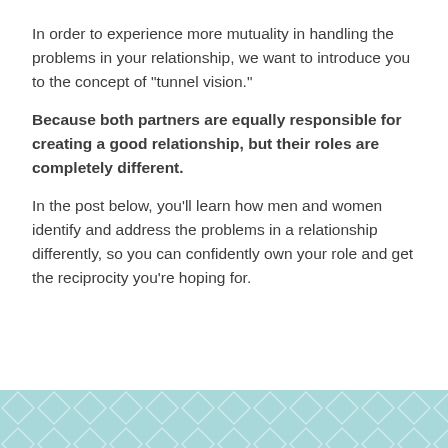In order to experience more mutuality in handling the problems in your relationship, we want to introduce you to the concept of “tunnel vision.”
Because both partners are equally responsible for creating a good relationship, but their roles are completely different.
In the post below, you’ll learn how men and women identify and address the problems in a relationship differently, so you can confidently own your role and get the reciprocity you’re hoping for.
[Figure (illustration): Teal/light blue decorative banner with a repeating diamond/chevron pattern at the bottom of the page.]